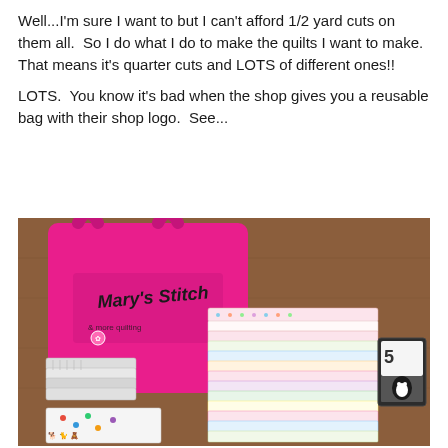Well...I'm sure I want to but I can't afford 1/2 yard cuts on them all.  So I do what I do to make the quilts I want to make.  That means it's quarter cuts and LOTS of different ones!!
LOTS.  You know it's bad when the shop gives you a reusable bag with their shop logo.  See...
[Figure (photo): Photo of a pink reusable tote bag with 'Mary's Stitch' shop logo on a wooden table, surrounded by stacks of folded fabric quarter cuts in various patterns including polka dots, florals, and novelty prints, plus some packaged sewing notions on the right.]